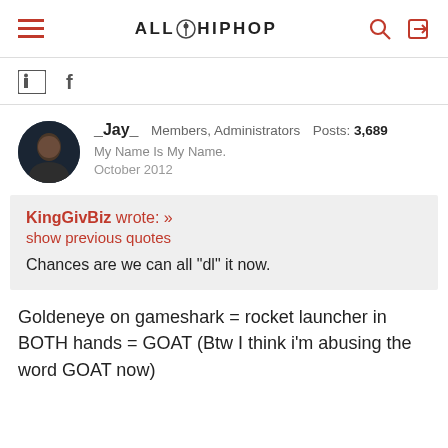ALLHIPHOP
[Figure (other): Social media share icons: Twitter bird and Facebook f]
_Jay_  Members, Administrators  Posts: 3,689
My Name Is My Name.
October 2012
KingGivBiz wrote: »
show previous quotes
Chances are we can all "dl" it now.
Goldeneye on gameshark = rocket launcher in BOTH hands = GOAT (Btw I think i'm abusing the word GOAT now)